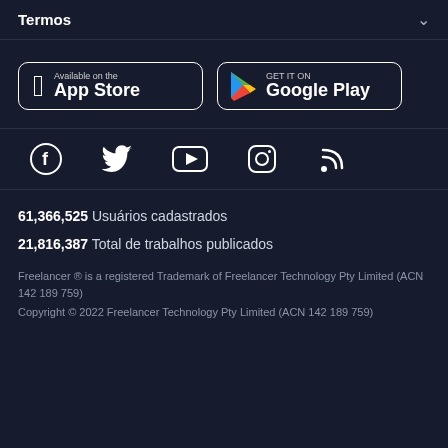Termos
[Figure (screenshot): App Store and Google Play store download buttons]
[Figure (screenshot): Social media icons: Facebook, Twitter, YouTube, Instagram, RSS feed]
61,366,525  Usuários cadastrados
21,816,387  Total de trabalhos publicados
Freelancer ® is a registered Trademark of Freelancer Technology Pty Limited (ACN 142 189 759)
Copyright © 2022 Freelancer Technology Pty Limited (ACN 142 189 759)